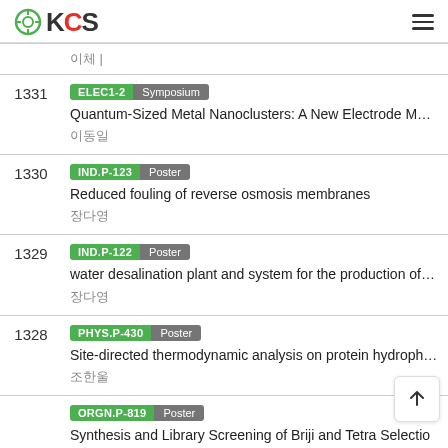KCS
| # | Entry |
| --- | --- |
|  | 이체 | |
| 1331 | ELEC1-2 Symposium
Quantum-Sized Metal Nanoclusters: A New Electrode Material
이동일 |
| 1330 | IND.P-123 Poster
Reduced fouling of reverse osmosis membranes
장다영 |
| 1329 | IND.P-122 Poster
water desalination plant and system for the production of pu
장다영 |
| 1328 | PHYS.P-430 Poster
Site-directed thermodynamic analysis on protein hydrophobi
조한울 |
|  | ORGN.P-819 Poster
Synthesis and Library Screening of Briji... |